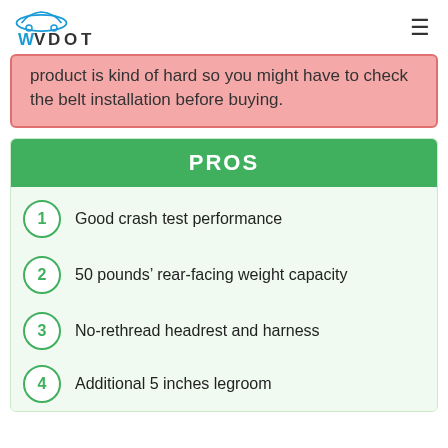WVDOT
product is kind of hard so you might have to check the belt installation before buying.
PROS
Good crash test performance
50 pounds’ rear-facing weight capacity
No-rethread headrest and harness
Additional 5 inches legroom